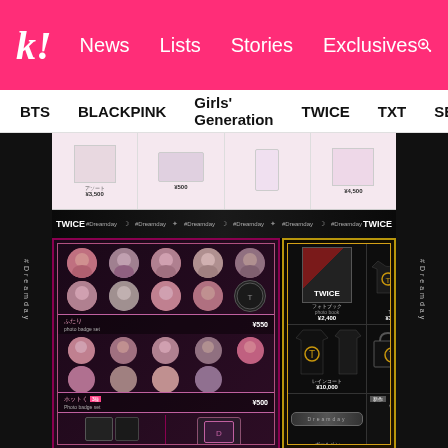k! News  Lists  Stories  Exclusives
BTS  BLACKPINK  Girls' Generation  TWICE  TXT  SEVE
[Figure (screenshot): TWICE #Dreamday concert merchandise catalog showing two panels: left panel with member photo badges (ふたり badge ¥550, ホットく badge set ¥500, vanity pouch ¥3,000, scarf ¥1,500), right panel with photo book ¥2,400, T-shirt ¥3,500/¥3,200, raincoat ¥10,000, tote bag ¥2,500, ballpoint pen ¥1,500, necklace ¥5,500]